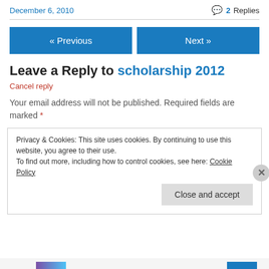December 6, 2010   2 Replies
« Previous   Next »
Leave a Reply to scholarship 2012
Cancel reply
Your email address will not be published. Required fields are marked *
Privacy & Cookies: This site uses cookies. By continuing to use this website, you agree to their use.
To find out more, including how to control cookies, see here: Cookie Policy